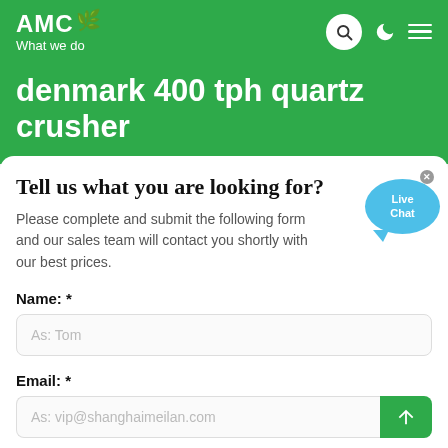AMC — What we do
denmark 400 tph quartz crusher
Tell us what you are looking for?
Please complete and submit the following form and our sales team will contact you shortly with our best prices.
Name: *
As: Tom
Email: *
As: vip@shanghaimeilan.com
Phone: *
With Country Code